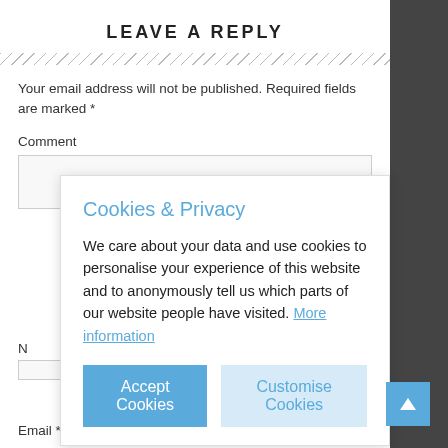LEAVE A REPLY
Your email address will not be published. Required fields are marked *
Comment
Cookies & Privacy
We care about your data and use cookies to personalise your experience of this website and to anonymously tell us which parts of our website people have visited. More information
Accept Cookies
Customise Cookies
N
Email *